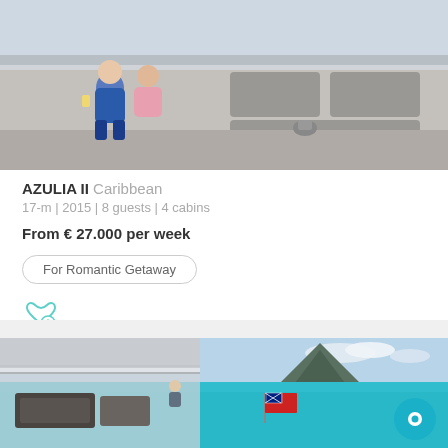[Figure (photo): Couple sitting on the deck of a catamaran yacht, with grey cushioned seating visible]
AZULIA II Caribbean
17-m | 2015 | 8 guests | 4 cabins
From € 27.000 per week
For Romantic Getaway
[Figure (illustration): Heart icon with plus sign in teal/cyan outline]
[Figure (photo): Aerial/deck view of a large catamaran yacht anchored in turquoise Caribbean waters with a mountainous island in the background and a British Virgin Islands flag visible on the stern]